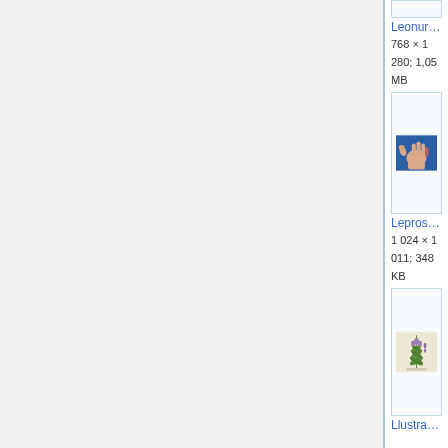[Figure (screenshot): Partial thumbnail box at top, cropped]
Leonurus cardiaca 35…
768 × 1 280; 1,05 MB
[Figure (photo): Leprosy-affected hand with shortened fingers against blue background]
Leprosy hand affected …
1 024 × 1 011; 348 KB
[Figure (illustration): Botanical illustration of Leonurus cardiaca plant with purple flowers and green leaves]
Llustration Leonurus c…